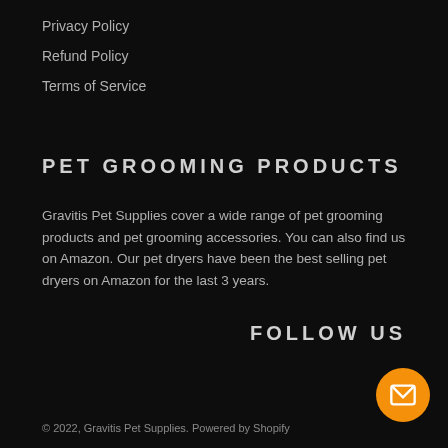Privacy Policy
Refund Policy
Terms of Service
PET GROOMING PRODUCTS
Gravitis Pet Supplies cover a wide range of pet grooming products and pet grooming accessories. You can also find us on Amazon. Our pet dryers have been the best selling pet dryers on Amazon for the last 3 years.
FOLLOW US
[Figure (infographic): Social media icons: Facebook (f), Instagram (camera), YouTube (play button), and an email button (envelope on orange circle)]
© 2022, Gravitis Pet Supplies. Powered by Shopify